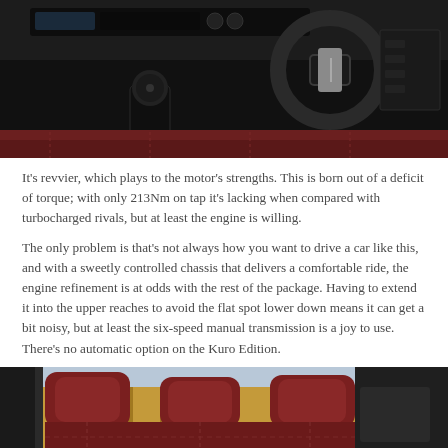[Figure (photo): Car interior showing dashboard, steering wheel, gear shift knob, and red leather seats viewed from driver side]
It's revvier, which plays to the motor's strengths. This is born out of a deficit of torque; with only 213Nm on tap it's lacking when compared with turbocharged rivals, but at least the engine is willing.
The only problem is that's not always how you want to drive a car like this, and with a sweetly controlled chassis that delivers a comfortable ride, the engine refinement is at odds with the rest of the package. Having to extend it into the upper reaches to avoid the flat spot lower down means it can get a bit noisy, but at least the six-speed manual transmission is a joy to use. There's no automatic option on the Kuro Edition.
[Figure (photo): Car rear interior showing red leather seats from the side, with wooden fence visible through windows]